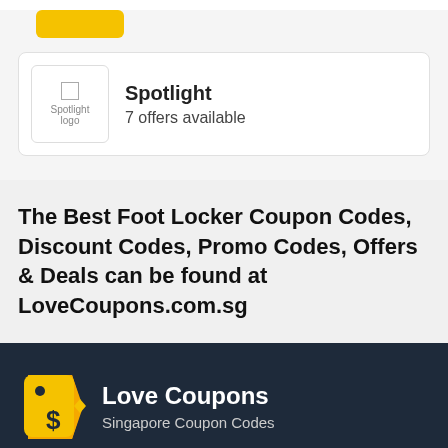[Figure (logo): Yellow button placeholder at top of card]
[Figure (logo): Spotlight logo placeholder image inside white box]
Spotlight
7 offers available
The Best Foot Locker Coupon Codes, Discount Codes, Promo Codes, Offers & Deals can be found at LoveCoupons.com.sg
[Figure (logo): Love Coupons price tag logo icon in yellow/orange on dark navy background]
Love Coupons
Singapore Coupon Codes
Our website uses cookies and similar technologies to enhance your experience with us. By continuing to use LoveCoupons.com.sg you agree to the use of these technologies. Read more.